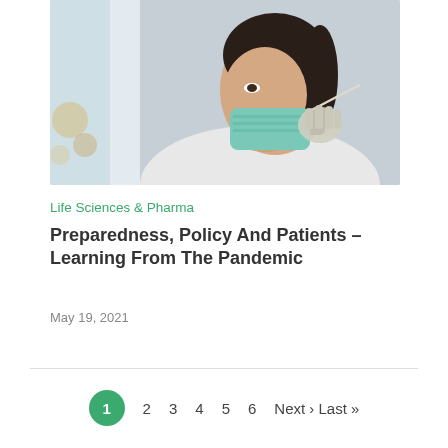[Figure (photo): A healthcare worker wearing a white coat and a teal surgical mask, looking out of a window, photographed in a clinical/indoor setting.]
Life Sciences & Pharma
Preparedness, Policy And Patients – Learning From The Pandemic
May 19, 2021
1  2  3  4  5  6  Next › Last »